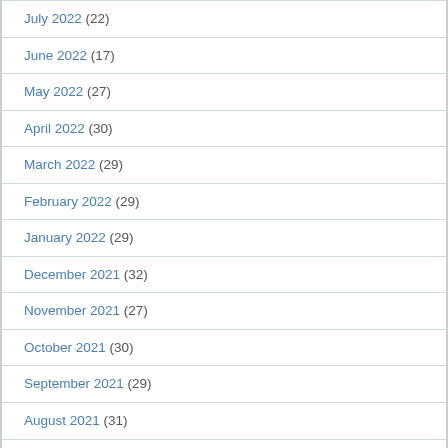July 2022 (22)
June 2022 (17)
May 2022 (27)
April 2022 (30)
March 2022 (29)
February 2022 (29)
January 2022 (29)
December 2021 (32)
November 2021 (27)
October 2021 (30)
September 2021 (29)
August 2021 (31)
July 2021 (29)
June 2021 (27)
May 2021 (25)